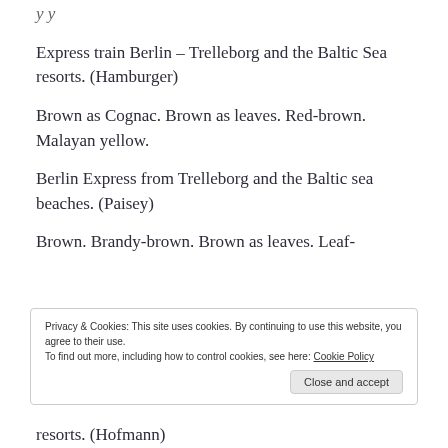Express train Berlin – Trelleborg and the Baltic Sea resorts. (Hamburger)
Brown as Cognac. Brown as leaves. Red-brown. Malayan yellow.
Berlin Express from Trelleborg and the Baltic sea beaches. (Paisey)
Brown. Brandy-brown. Brown as leaves. Leaf-
Privacy & Cookies: This site uses cookies. By continuing to use this website, you agree to their use.
To find out more, including how to control cookies, see here: Cookie Policy
resorts. (Hofmann)